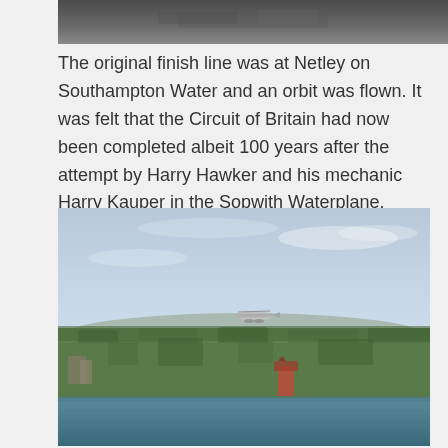[Figure (photo): Partial top photo showing a dark/blurred image, likely a previous aerial or landscape photo cropped at the top of the page.]
The original finish line was at Netley on Southampton Water and an orbit was flown. It was felt that the Circuit of Britain had now been completed albeit 100 years after the attempt by Harry Hawker and his mechanic Harry Kauper in the Sopwith Waterplane.
[Figure (photo): Aerial photograph showing a small seaplane or light aircraft flying over a green, tree-covered landscape with a body of water (Southampton Water / Netley area) visible in the foreground. Blue sky with faint clouds in the background.]